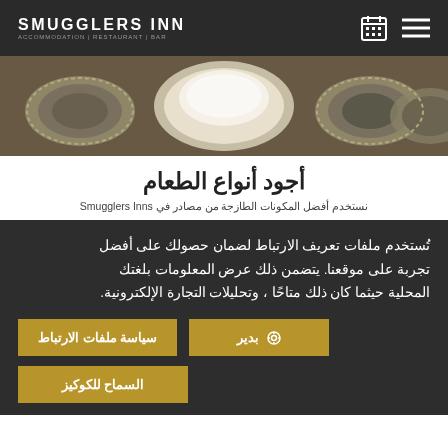SMUGGLERS INN — ACCOMMODATION | RESTAURANT | BAR
[Figure (photo): Food/baking items on a wooden surface — tart tins and bowls with flour]
أجود أنواع الطعام
تستخدم Smugglers Inns أفضل المكونات الطازجة من مصادر في
تُستخدم ملفات تعريف الارتباط لضمان حصولك على أفضل تجربة على موقعنا. يتضمن ذلك عرض المعلومات بلغتك المحلية حيثما كان ذلك متاحًا ، وتحليلات التجارة الإلكترونية.
سياسة ملفات الارتباط
⚙ بدير
السماح للكوكيز